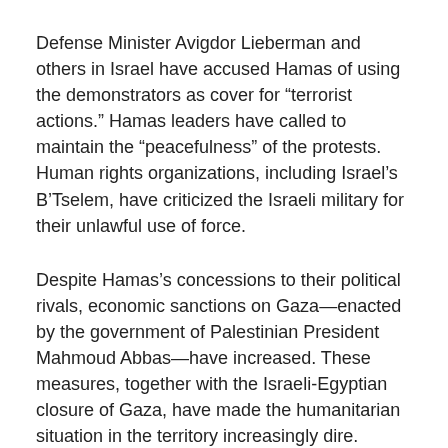Defense Minister Avigdor Lieberman and others in Israel have accused Hamas of using the demonstrators as cover for “terrorist actions.” Hamas leaders have called to maintain the “peacefulness” of the protests. Human rights organizations, including Israel’s B’Tselem, have criticized the Israeli military for their unlawful use of force.
Despite Hamas’s concessions to their political rivals, economic sanctions on Gaza—enacted by the government of Palestinian President Mahmoud Abbas—have increased. These measures, together with the Israeli-Egyptian closure of Gaza, have made the humanitarian situation in the territory increasingly dire.
The protests are Hamas’s response to these pressures. Hamas is calculating that the demonstrations can serve as an alternative to armed conflict, which will focus attention on Gaza and generate pressure on Israel, Arab states and